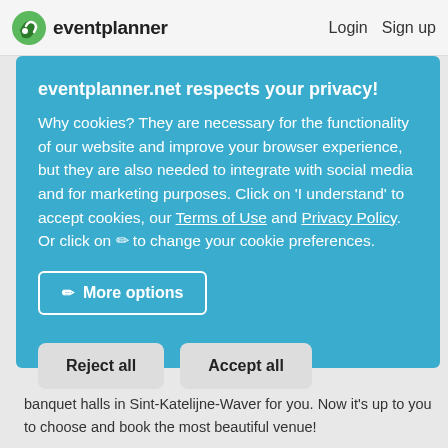eventplanner   Login   Sign up
eventplanner.net respects your privacy!
Why cookies? They are necessary for the functionality of our website and improve your browser experience, but they are also needed to integrate with social media and for marketing purposes. Click on 'I understand' to accept cookies, our Terms of Use and Privacy Policy. Or click on ✏ to change your cookie preferences.
✏ More options
Reject all   Accept all
banquet halls in Sint-Katelijne-Waver for you. Now it's up to you to choose and book the most beautiful venue!